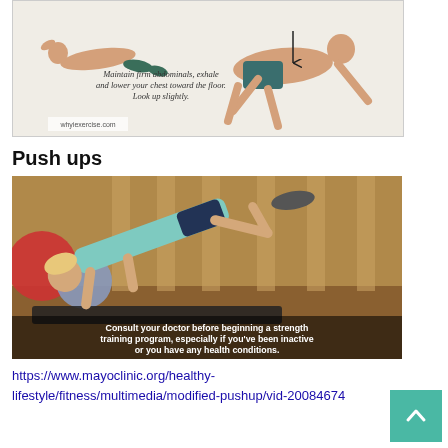[Figure (illustration): Exercise illustration showing a person in cat/cow pose on hands and knees with text: 'Maintain firm abdominals, exhale and lower your chest toward the floor. Look up slightly.' whyiexercise.com]
Push ups
[Figure (illustration): Video still of a woman doing a modified knee push-up on an exercise mat in a gym with fitness balls in background. Text overlay: 'Consult your doctor before beginning a strength training program, especially if you've been inactive or you have any health conditions.']
https://www.mayoclinic.org/healthy-lifestyle/fitness/multimedia/modified-pushup/vid-20084674